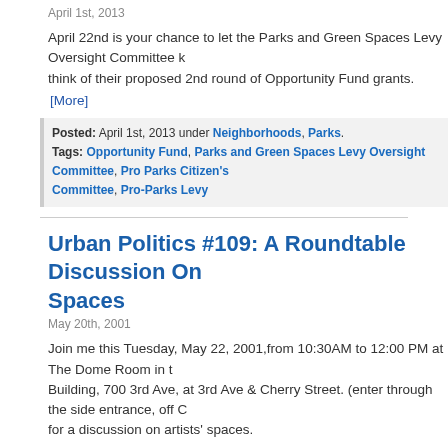April 1st, 2013
April 22nd is your chance to let the Parks and Green Spaces Levy Oversight Committee know what you think of their proposed 2nd round of Opportunity Fund grants.
[More]
Posted: April 1st, 2013 under Neighborhoods, Parks. Tags: Opportunity Fund, Parks and Green Spaces Levy Oversight Committee, Pro Parks Citizen's Committee, Pro-Parks Levy
Urban Politics #109: A Roundtable Discussion On... Spaces
May 20th, 2001
Join me this Tuesday, May 22, 2001,from 10:30AM to 12:00 PM at The Dome Room in the Building, 700 3rd Ave, at 3rd Ave & Cherry Street. (enter through the side entrance, off C... for a discussion on artists' spaces.
[More]
Posted: May 20th, 2001 under Arts and Culture, Development and Sustainability, Housing, Neighborhoods, Parks, Planning and Land Use, UP. Tags: adequacy of open space, artists, Artists Space, breathing room open space, Construction and... (DCLU), Culture, Department of Design, low-income housing, Pro Parks Citizen's Oversight Com...